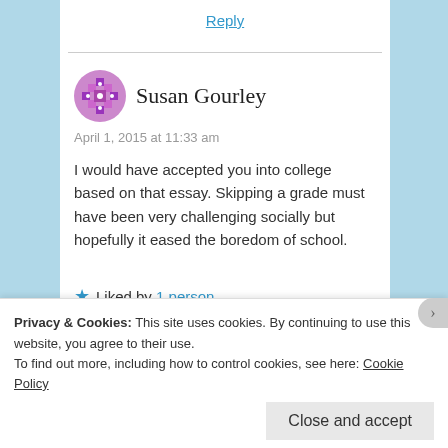Reply
Susan Gourley
April 1, 2015 at 11:33 am
I would have accepted you into college based on that essay. Skipping a grade must have been very challenging socially but hopefully it eased the boredom of school.
Liked by 1 person
Reply
Privacy & Cookies: This site uses cookies. By continuing to use this website, you agree to their use.
To find out more, including how to control cookies, see here: Cookie Policy
Close and accept